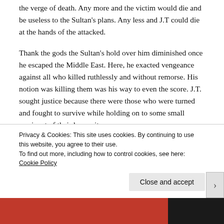the verge of death. Any more and the victim would die and be useless to the Sultan’s plans.  Any less and J.T could die at the hands of the attacked.
Thank the gods the Sultan’s hold over him diminished once he escaped the Middle East.  Here, he exacted vengeance against all who killed ruthlessly and without remorse.  His notion was killing them was his way to even the score.  J.T. sought justice because there were those who were turned and fought to survive while holding on to some small ruminant of their humanity.
“So, you have a death wish.”  The observation was one he used over and over again.  Each time he confronted a fellow
Privacy & Cookies: This site uses cookies. By continuing to use this website, you agree to their use.
To find out more, including how to control cookies, see here: Cookie Policy